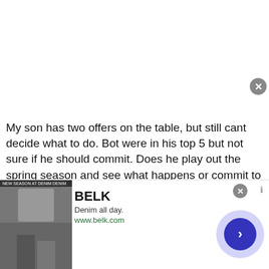My son has two offers on the table, but still cant decide what to do. Both were in his top 5 but not sure if he should commit. Does he play out the spring season and see what happens or commit to one of the two offers.
Anonymous
Unregistered
Originally Posted by Anonymous
Honest question here.
[Figure (screenshot): Advertisement for BELK featuring denim clothing. Shows 'BELK', 'Denim all day.', 'www.belk.com' with navigation arrow.]